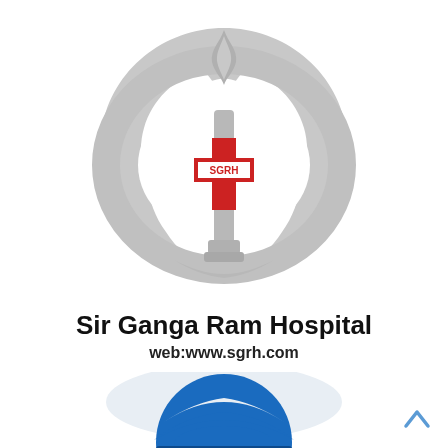[Figure (logo): Sir Ganga Ram Hospital (SGRH) logo: a grey torch with flame held by two grey hands forming an oval, with a red cross in the center bearing the text SGRH]
Sir Ganga Ram Hospital
web:www.sgrh.com
[Figure (logo): Partially visible blue and white circular logo at the bottom of the page, likely another hospital or organization logo]
[Figure (other): Light blue upward-pointing chevron/caret arrow in the bottom-right corner]